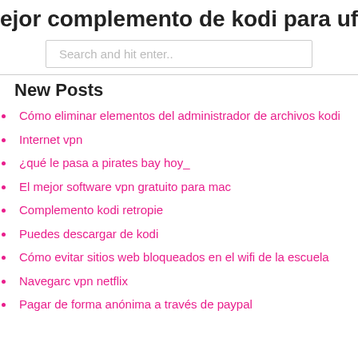ejor complemento de kodi para ufc 2
[Figure (screenshot): Search input box with placeholder text 'Search and hit enter..']
New Posts
Cómo eliminar elementos del administrador de archivos kodi
Internet vpn
¿qué le pasa a pirates bay hoy_
El mejor software vpn gratuito para mac
Complemento kodi retropie
Puedes descargar de kodi
Cómo evitar sitios web bloqueados en el wifi de la escuela
Navegarc vpn netflix
Pagar de forma anónima a través de paypal